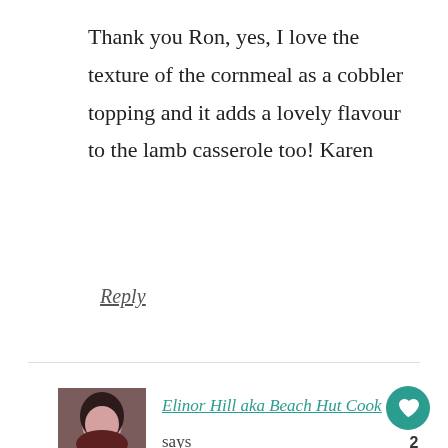Thank you Ron, yes, I love the texture of the cornmeal as a cobbler topping and it adds a lovely flavour to the lamb casserole too! Karen
Reply
[Figure (photo): Profile photo of Elinor Hill, a woman with dark hair]
Elinor Hill aka Beach Hut Cook says
7 November 2017 at 10:37 am